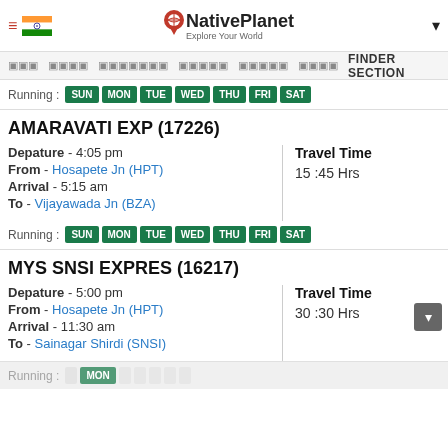NativePlanet - Explore Your World
Running: SUN MON TUE WED THU FRI SAT
AMARAVATI EXP (17226)
Depature - 4:05 pm
From - Hosapete Jn (HPT)
Arrival - 5:15 am
To - Vijayawada Jn (BZA)
Travel Time
15 :45 Hrs
Running: SUN MON TUE WED THU FRI SAT
MYS SNSI EXPRES (16217)
Depature - 5:00 pm
From - Hosapete Jn (HPT)
Arrival - 11:30 am
To - Sainagar Shirdi (SNSI)
Travel Time
30 :30 Hrs
Running: MON